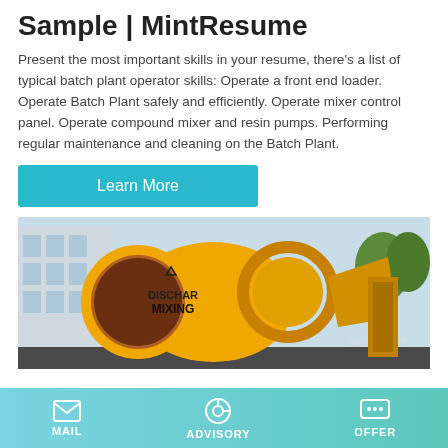Sample | MintResume
Present the most important skills in your resume, there's a list of typical batch plant operator skills: Operate a front end loader. Operate Batch Plant safely and efficiently. Operate mixer control panel. Operate compound mixer and resin pumps. Performing regular maintenance and cleaning on the Batch Plant.
Learn More
[Figure (photo): Yellow concrete batch plant mixer machine with 'DISCHAR MIXING' label and model JBS40-12-82R, photographed outdoors near a building]
MAIL   ADVISORY   OFFER